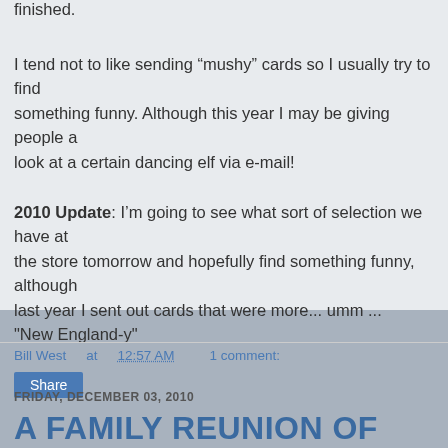finished.
I tend not to like sending “mushy” cards so I usually try to find something funny. Although this year I may be giving people a look at a certain dancing elf via e-mail!
2010 Update: I’m going to see what sort of selection we have at the store tomorrow and hopefully find something funny, although last year I sent out cards that were more... umm ... "New England-y"
Bill West at 12:57 AM    1 comment:
Share
FRIDAY, DECEMBER 03, 2010
A FAMILY REUNION OF SORTS7